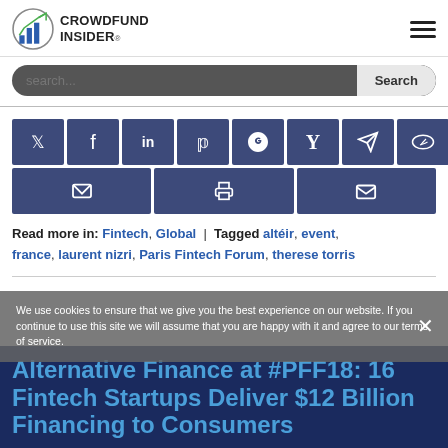CROWDFUND INSIDER
search...  Search
[Figure (infographic): Social sharing buttons row: Twitter, Facebook, LinkedIn, Pinterest, Reddit, Hacker News (Y), Telegram, Weibo; second row: email, print, envelope]
Read more in: Fintech, Global | Tagged altéir, event, france, laurent nizri, Paris Fintech Forum, therese torris
We use cookies to ensure that we give you the best experience on our website. If you continue to use this site we will assume that you are happy with it and agree to our terms of service.
Alternative Finance at #PFF18: 16 Fintech Startups Deliver $12 Billion Financing to Consumers